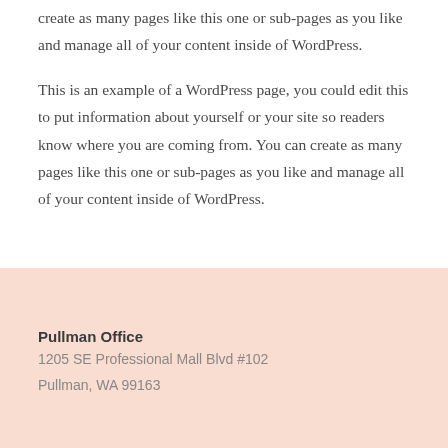create as many pages like this one or sub-pages as you like and manage all of your content inside of WordPress.
This is an example of a WordPress page, you could edit this to put information about yourself or your site so readers know where you are coming from. You can create as many pages like this one or sub-pages as you like and manage all of your content inside of WordPress.
Pullman Office
1205 SE Professional Mall Blvd #102
Pullman, WA 99163